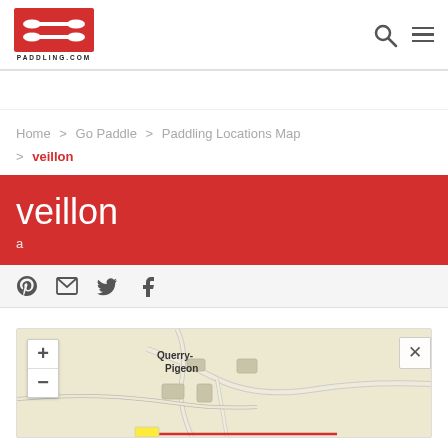[Figure (logo): Paddling.com logo — red rectangular background with two white paddle icons and 'PADDLING.COM' text below]
Home > Go Paddle > Paddling Locations Map > veillon
veillon
a
[Figure (screenshot): Social sharing icons: Pinterest, email/envelope, Twitter, Facebook]
[Figure (map): Map showing Querry-Pigeon area with zoom controls (+/-) and a close (x) button]